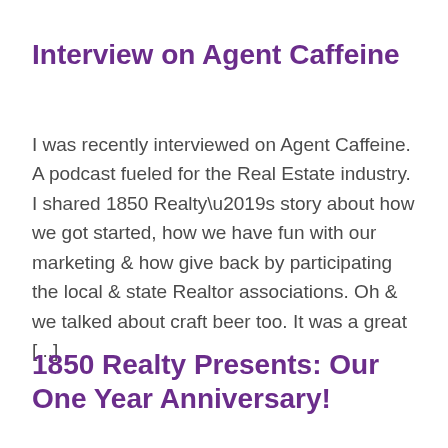Interview on Agent Caffeine
I was recently interviewed on Agent Caffeine. A podcast fueled for the Real Estate industry. I shared 1850 Realty’s story about how we got started, how we have fun with our marketing & how give back by participating the local & state Realtor associations. Oh & we talked about craft beer too. It was a great [...]
1850 Realty Presents: Our One Year Anniversary!